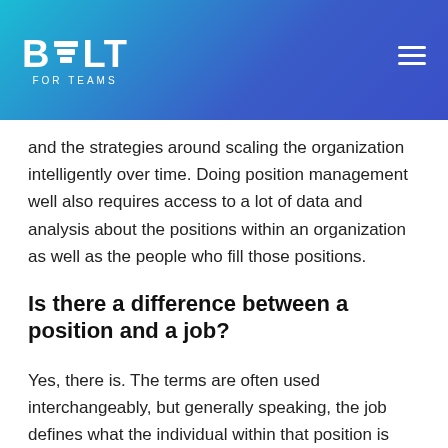BUILT FOR TEAMS
and the strategies around scaling the organization intelligently over time. Doing position management well also requires access to a lot of data and analysis about the positions within an organization as well as the people who fill those positions.
Is there a difference between a position and a job?
Yes, there is. The terms are often used interchangeably, but generally speaking, the job defines what the individual within that position is